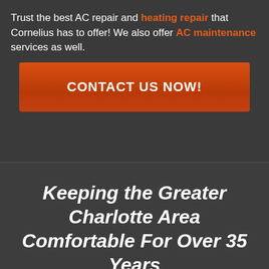Trust the best AC repair and heating repair that Cornelius has to offer! We also offer AC maintenance services as well.
[Figure (other): Orange/red call-to-action button with bold white text reading CONTACT US NOW!]
Keeping the Greater Charlotte Area Comfortable For Over 35 Years